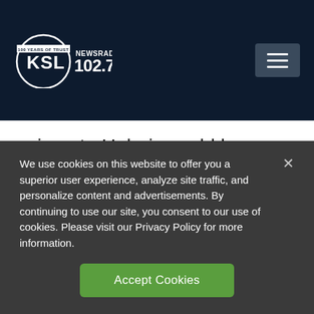[Figure (logo): KSL NewsRadio 102.7FM logo — circular logo with KSL text inside circle, '100 YEARS OF TRUST' banner, 'NEWSRADIO 102.7FM' text]
unique to Hubei, would have complicated the task of officials on the lookout for new dangerous viruses.
Though the magnitude of the Hubei flu spike has not been previously reported, it is
We use cookies on this website to offer you a superior user experience, analyze site traffic, and personalize content and advertisements. By continuing to use our site, you consent to our use of cookies. Please visit our Privacy Policy for more information.
Accept Cookies